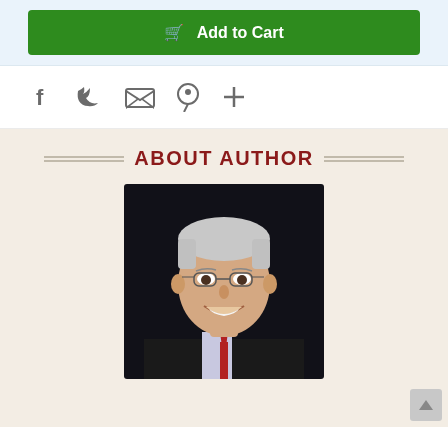Add to Cart
[Figure (illustration): Social sharing icons: Facebook (f), Twitter bird, Email/envelope, Pinterest (P), and a plus (+) icon]
ABOUT AUTHOR
[Figure (photo): Professional headshot of an older man with gray hair, glasses, smiling, wearing a dark suit and red tie, against a dark background]